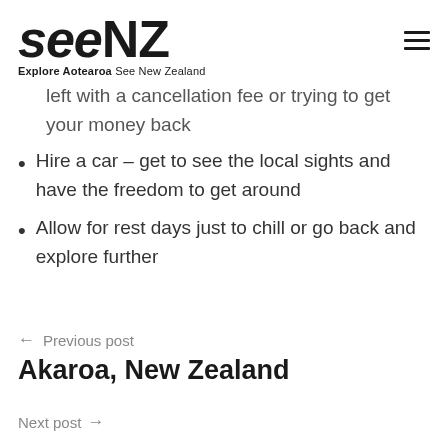seeNZ — Explore Aotearoa See New Zealand
left with a cancellation fee or trying to get your money back
Hire a car – get to see the local sights and have the freedom to get around
Allow for rest days just to chill or go back and explore further
← Previous post
Akaroa, New Zealand
Next post →